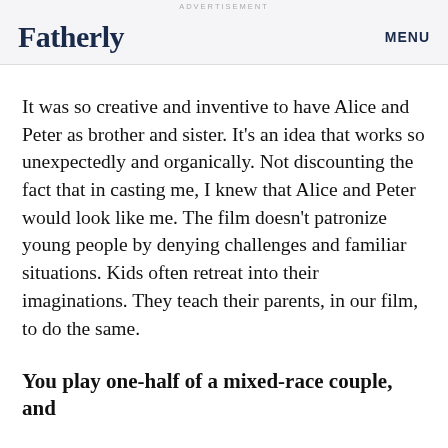ADVERTISEMENT
Fatherly
MENU
It was so creative and inventive to have Alice and Peter as brother and sister. It’s an idea that works so unexpectedly and organically. Not discounting the fact that in casting me, I knew that Alice and Peter would look like me. The film doesn’t patronize young people by denying challenges and familiar situations. Kids often retreat into their imaginations. They teach their parents, in our film, to do the same.
You play one-half of a mixed-race couple, and